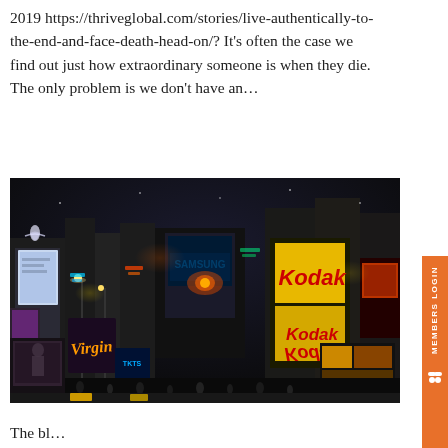2019 https://thriveglobal.com/stories/live-authentically-to-the-end-and-face-death-head-on/? It's often the case we find out just how extraordinary someone is when they die. The only problem is we don't have an…
[Figure (photo): Night-time photograph of Times Square, New York City, showing brightly lit billboards including Kodak signs, crowded streets, and tall buildings with neon advertisements.]
The bl...